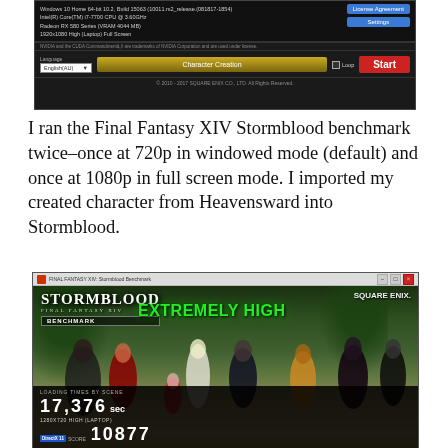[Figure (screenshot): Final Fantasy XIV Stormblood benchmark launcher window showing system info, Language selector set to English(AU), Character Creation button, Loop checkbox, and Start button. Copyright 2010-2017 SQUARE ENIX CO., LTD.]
I ran the Final Fantasy XIV Stormblood benchmark twice–once at 720p in windowed mode (default) and once at 1080p in full screen mode. I imported my created character from Heavensward into Stormblood.
[Figure (screenshot): Final Fantasy XIV: Stormblood Benchmark results screen showing EXTREMELY HIGH rating, score 17,376 sec, 1280x720 HIGH (LAPTOP), DirectX 11 score 10877, with SQUARE ENIX logo and character artwork.]